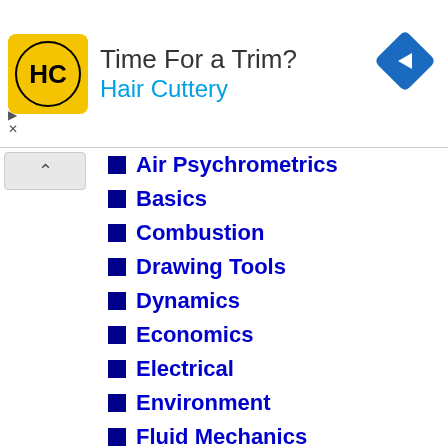[Figure (other): Advertisement banner for Hair Cuttery with yellow logo, headline 'Time For a Trim?', brand name 'Hair Cuttery' in blue, and a blue diamond-shaped arrow icon on the right.]
Air Psychrometrics
Basics
Combustion
Drawing Tools
Dynamics
Economics
Electrical
Environment
Fluid Mechanics
Gases and Compressed Air
HVAC Systems
Hydraulics and Pneumatics
Insulation